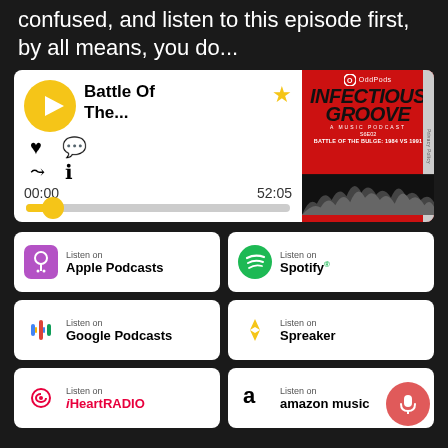confused, and listen to this episode first, by all means, you do...
[Figure (screenshot): Podcast player card showing 'Battle Of The...' episode with yellow play button, heart/share/comment/info icons, time 00:00 / 52:05, and progress bar. Right side shows Infectious Groove podcast cover art on red background with crowd silhouette.]
[Figure (infographic): Grid of podcast platform buttons: Apple Podcasts, Spotify, Google Podcasts, Spreaker, iHeartRADIO, Amazon Music. Each has a 'Listen on' label with platform name and logo.]